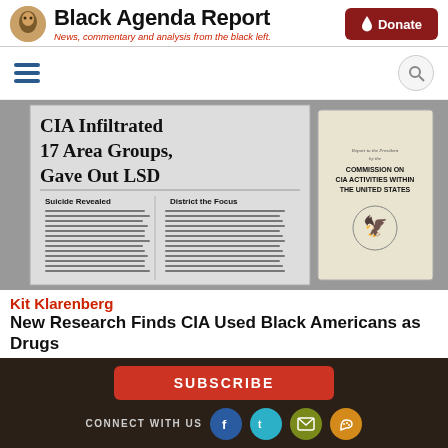Black Agenda Report — News, commentary and analysis from the black left.
[Figure (screenshot): Newspaper clipping showing headline 'CIA Infiltrated 17 Area Groups, Gave Out LSD' with subheads 'Suicide Revealed' and 'District the Focus', alongside a document titled 'Report to the President by the Commission on CIA Activities Within the United States']
Kit Klarenberg
New Research Finds CIA Used Black Americans as Drugs
SUBSCRIBE | CONNECT WITH US | ABOUT US | CONTACT US